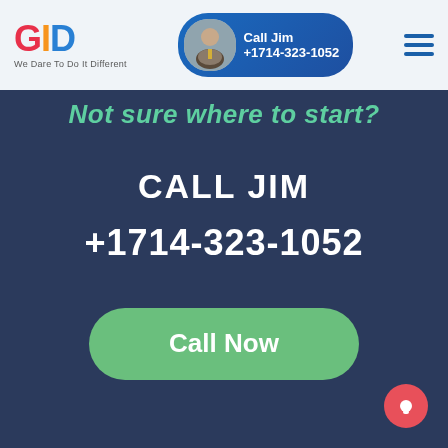[Figure (logo): GID logo with colorful letters G (red), I (orange), D (blue) and tagline 'We Dare To Do It Different']
Call Jim +1714-323-1052
Not sure where to start?
CALL JIM
+1714-323-1052
Call Now